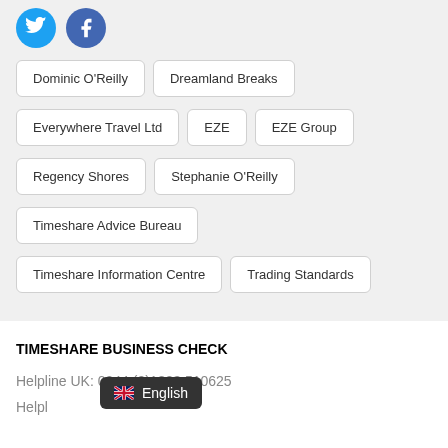[Figure (logo): Twitter bird icon (blue circle) and Facebook f icon (blue circle)]
Dominic O'Reilly
Dreamland Breaks
Everywhere Travel Ltd
EZE
EZE Group
Regency Shores
Stephanie O'Reilly
Timeshare Advice Bureau
Timeshare Information Centre
Trading Standards
TIMESHARE BUSINESS CHECK
Helpline UK: 0044 (0)1823 510625
Helpl…
🇬🇧 English